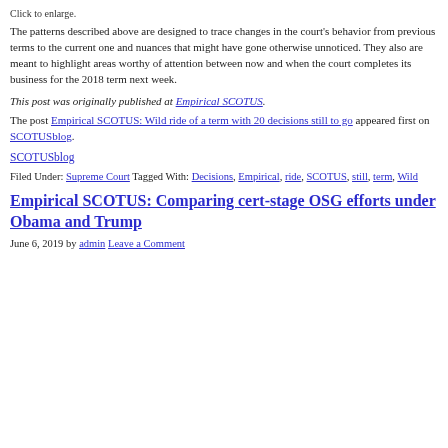Click to enlarge.
The patterns described above are designed to trace changes in the court's behavior from previous terms to the current one and nuances that might have gone otherwise unnoticed. They also are meant to highlight areas worthy of attention between now and when the court completes its business for the 2018 term next week.
This post was originally published at Empirical SCOTUS.
The post Empirical SCOTUS: Wild ride of a term with 20 decisions still to go appeared first on SCOTUSblog.
SCOTUSblog
Filed Under: Supreme Court Tagged With: Decisions, Empirical, ride, SCOTUS, still, term, Wild
Empirical SCOTUS: Comparing cert-stage OSG efforts under Obama and Trump
June 6, 2019 by admin Leave a Comment